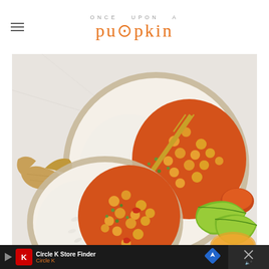ONCE UPON A pumpkin
[Figure (photo): Overhead view of two ceramic bowls filled with chickpea curry and white rice, garnished with cilantro and lime. A gold fork rests in one bowl. Lime wedges, fresh ginger root, and a small bowl of spice are arranged on a marble surface around the bowls.]
[Figure (other): Circle K Store Finder advertisement banner with Circle K logo, navigation icon, and close button on dark background.]